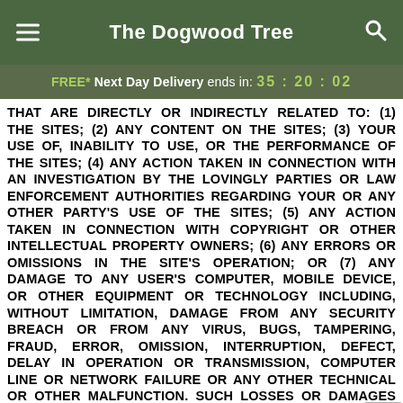The Dogwood Tree
FREE* Next Day Delivery ends in: 35:20:02
THAT ARE DIRECTLY OR INDIRECTLY RELATED TO: (1) THE SITES; (2) ANY CONTENT ON THE SITES; (3) YOUR USE OF, INABILITY TO USE, OR THE PERFORMANCE OF THE SITES; (4) ANY ACTION TAKEN IN CONNECTION WITH AN INVESTIGATION BY THE LOVINGLY PARTIES OR LAW ENFORCEMENT AUTHORITIES REGARDING YOUR OR ANY OTHER PARTY'S USE OF THE SITES; (5) ANY ACTION TAKEN IN CONNECTION WITH COPYRIGHT OR OTHER INTELLECTUAL PROPERTY OWNERS; (6) ANY ERRORS OR OMISSIONS IN THE SITE'S OPERATION; OR (7) ANY DAMAGE TO ANY USER'S COMPUTER, MOBILE DEVICE, OR OTHER EQUIPMENT OR TECHNOLOGY INCLUDING, WITHOUT LIMITATION, DAMAGE FROM ANY SECURITY BREACH OR FROM ANY VIRUS, BUGS, TAMPERING, FRAUD, ERROR, OMISSION, INTERRUPTION, DEFECT, DELAY IN OPERATION OR TRANSMISSION, COMPUTER LINE OR NETWORK FAILURE OR ANY OTHER TECHNICAL OR OTHER MALFUNCTION. SUCH LOSSES OR DAMAGES INCLUDE, WITHOUT LIMITATION, DAMAGES FOR LOST PROFITS, LOSS OF